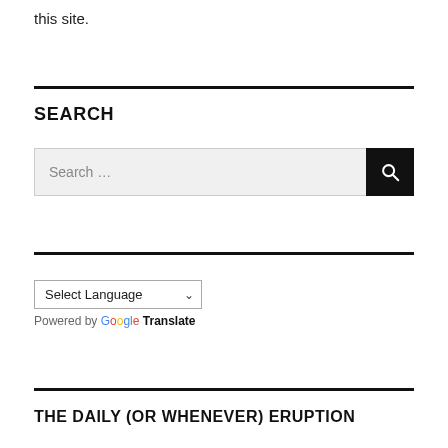this site.
SEARCH
[Figure (other): Search input box with text 'Search ...' and a black search button with magnifying glass icon]
Select Language (dropdown)
Powered by Google Translate
THE DAILY (OR WHENEVER) ERUPTION